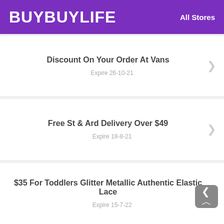BUYBUYLIFE    All Stores
Discount On Your Order At Vans
Expire 26-10-21
Free St & Ard Delivery Over $49
Expire 18-8-21
$35 For Toddlers Glitter Metallic Authentic Elastic Lace
Expire 15-7-22